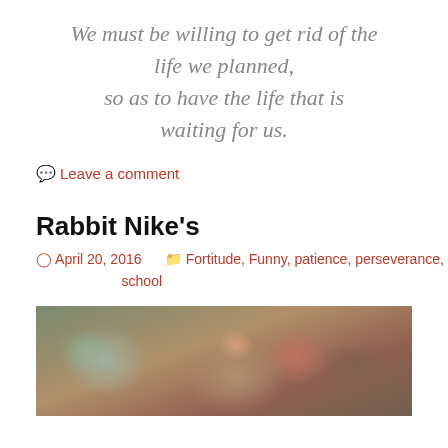We must be willing to get rid of the life we planned, so as to have the life that is waiting for us.
Leave a comment
Rabbit Nike's
April 20, 2016   Fortitude, Funny, patience, perseverance, school
[Figure (photo): Close-up photo of a rabbit, showing fur texture in brown and grey tones]